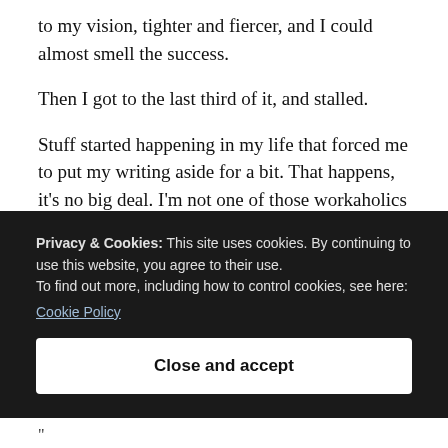to my vision, tighter and fiercer, and I could almost smell the success.
Then I got to the last third of it, and stalled.
Stuff started happening in my life that forced me to put my writing aside for a bit. That happens, it’s no big deal. I’m not one of those workaholics that feels worthless if she doesn’t write for a day or two. Neither does my “muse” torment me, or whatever the lament de jour is among writers these days.
Privacy & Cookies: This site uses cookies. By continuing to use this website, you agree to their use.
To find out more, including how to control cookies, see here:
Cookie Policy
Close and accept